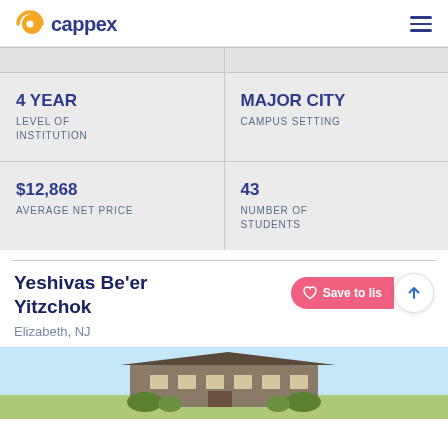cappex
| 4 YEAR
LEVEL OF INSTITUTION | MAJOR CITY
CAMPUS SETTING |
| $12,868
AVERAGE NET PRICE | 43
NUMBER OF STUDENTS |
Yeshivas Be'er Yitzchok
Elizabeth, NJ
[Figure (photo): Exterior photo of Yeshivas Be'er Yitzchok building]